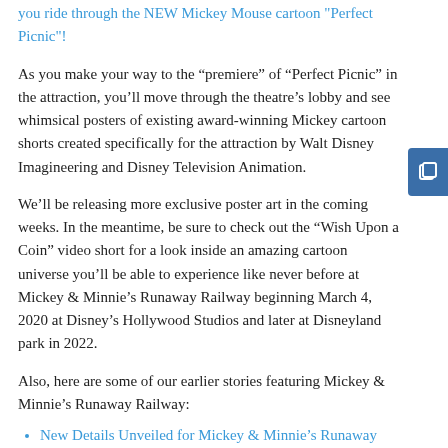you ride through the NEW Mickey Mouse cartoon "Perfect Picnic"!
As you make your way to the “premiere” of “Perfect Picnic” in the attraction, you’ll move through the theatre’s lobby and see whimsical posters of existing award-winning Mickey cartoon shorts created specifically for the attraction by Walt Disney Imagineering and Disney Television Animation.
We’ll be releasing more exclusive poster art in the coming weeks. In the meantime, be sure to check out the “Wish Upon a Coin” video short for a look inside an amazing cartoon universe you’ll be able to experience like never before at Mickey & Minnie’s Runaway Railway beginning March 4, 2020 at Disney’s Hollywood Studios and later at Disneyland park in 2022.
Also, here are some of our earlier stories featuring Mickey & Minnie’s Runaway Railway:
New Details Unveiled for Mickey & Minnie’s Runaway Railway, Coming to Disneyland Park and Disney’s Hollywood Studios
Mickey & Minnie’s Runaway Railway to Roll into Disneyland Park